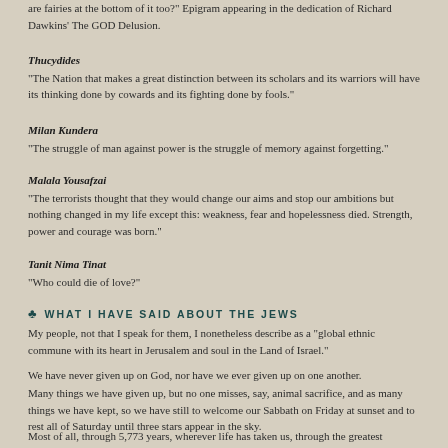are fairies at the bottom of it too?" Epigram appearing in the dedication of Richard Dawkins' The GOD Delusion.
Thucydides
"The Nation that makes a great distinction between its scholars and its warriors will have its thinking done by cowards and its fighting done by fools."
Milan Kundera
"The struggle of man against power is the struggle of memory against forgetting."
Malala Yousafzai
"The terrorists thought that they would change our aims and stop our ambitions but nothing changed in my life except this: weakness, fear and hopelessness died. Strength, power and courage was born."
Tanit Nima Tinat
"Who could die of love?"
WHAT I HAVE SAID ABOUT THE JEWS
My people, not that I speak for them, I nonetheless describe as a "global ethnic commune with its heart in Jerusalem and soul in the Land of Israel."
We have never given up on God, nor have we ever given up on one another.
Many things we have given up, but no one misses, say, animal sacrifice, and as many things we have kept, so we have still to welcome our Sabbath on Friday at sunset and to rest all of Saturday until three stars appear in the sky.
Most of all, through 5,773 years, wherever life has taken us, through the greatest triumphs and the most awful tragedies, we have preserved our tribal identity and soul, and so shall we continue eternally.